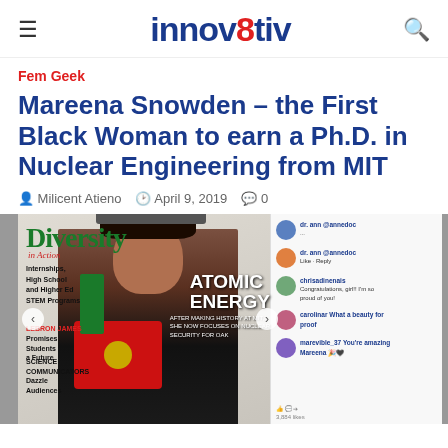innov8tiv
Fem Geek
Mareena Snowden – the First Black Woman to earn a Ph.D. in Nuclear Engineering from MIT
Milicent Atieno   April 9, 2019   0
[Figure (photo): Magazine cover of 'Diversity in Action' featuring Mareena Snowden in graduation regalia holding a red diploma, with headlines about Atomic Energy, Internships, LeBron James, and Science Communicators; alongside a social media screenshot showing congratulatory comments]